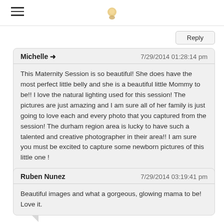Reply
Michelle → 7/29/2014 01:28:14 pm
This Maternity Session is so beautiful! She does have the most perfect little belly and she is a beautiful little Mommy to be!! I love the natural lighting used for this session! The pictures are just amazing and I am sure all of her family is just going to love each and every photo that you captured from the session! The durham region area is lucky to have such a talented and creative photographer in their area!! I am sure you must be excited to capture some newborn pictures of this little one !
Reply
Ruben Nunez 7/29/2014 03:19:41 pm
Beautiful images and what a gorgeous, glowing mama to be! Love it.